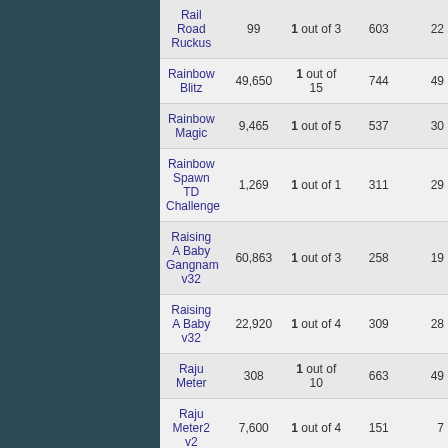| Game Name | Players | Rank | Score |  |
| --- | --- | --- | --- | --- |
| Rail Road Ruckus | 99 | 1 out of 3 | 603 | 22 |
| Rainbow Blitz | 49,650 | 1 out of 15 | 744 | 49 |
| Rainbow Magic | 9,465 | 1 out of 5 | 537 | 30 |
| Rainbow Spawn TD Challenge | 1,269 | 1 out of 1 | 311 | 29 |
| Raising A Baby Gangnam v32 | 60,863 | 1 out of 3 | 258 | 19 |
| Raising A Baby v32 | 22,920 | 1 out of 4 | 309 | 28 |
| Raju Meter | 308 | 1 out of 10 | 663 | 49 |
| Raju Meter2 v2 | 7,600 | 1 out of 4 | 151 | 7 |
| Ramps | 103,800 | 1 out of 1 | 716 | 19 |
| Ranch Connect 3 | 3,594 | 1 out of 3 | 1319 | 22 |
| Rapid Parking | 8,000 | 1 out of 3 | 826 | 14 |
| Rash Race | 44,000 | 1 out of 3 | 394 | 4 |